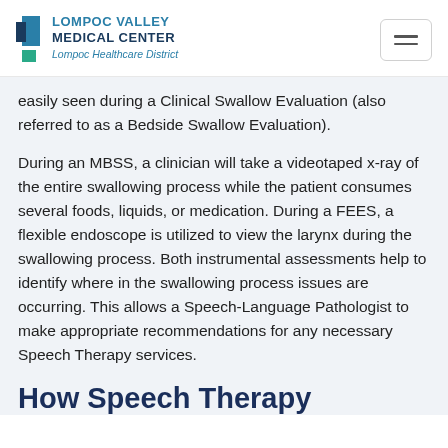[Figure (logo): Lompoc Valley Medical Center logo with blue graphic elements and 'Lompoc Healthcare District' subtitle]
easily seen during a Clinical Swallow Evaluation (also referred to as a Bedside Swallow Evaluation).
During an MBSS, a clinician will take a videotaped x-ray of the entire swallowing process while the patient consumes several foods, liquids, or medication. During a FEES, a flexible endoscope is utilized to view the larynx during the swallowing process. Both instrumental assessments help to identify where in the swallowing process issues are occurring. This allows a Speech-Language Pathologist to make appropriate recommendations for any necessary Speech Therapy services.
How Speech Therapy